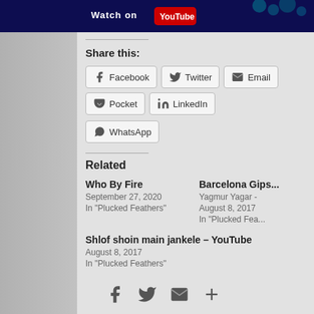[Figure (screenshot): Top banner with dark blue background and YouTube logo/text area]
Share this:
Facebook | Twitter | Email | Pocket | LinkedIn | WhatsApp
Related
Who By Fire
September 27, 2020
In "Plucked Feathers"
Barcelona Gips...
Yagmur Yagar -
August 8, 2017
In "Plucked Fea..."
Shlof shoin main jankele – YouTube
August 8, 2017
In "Plucked Feathers"